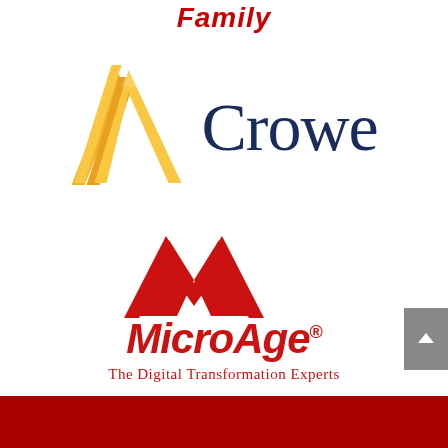Family
[Figure (logo): Crowe logo — gold/yellow angular mountain/triangle chevron mark on left, dark navy blue 'Crowe' wordmark on right]
[Figure (logo): MicroAge logo — red double-mountain M symbol above bold red italic 'MicroAge®' wordmark with tagline 'The Digital Transformation Experts' below in red]